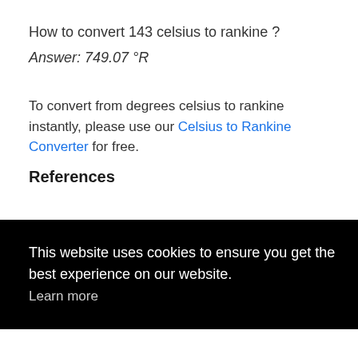How to convert 143 celsius to rankine ?
Answer: 749.07 °R
To convert from degrees celsius to rankine instantly, please use our Celsius to Rankine Converter for free.
References
This website uses cookies to ensure you get the best experience on our website. Learn more